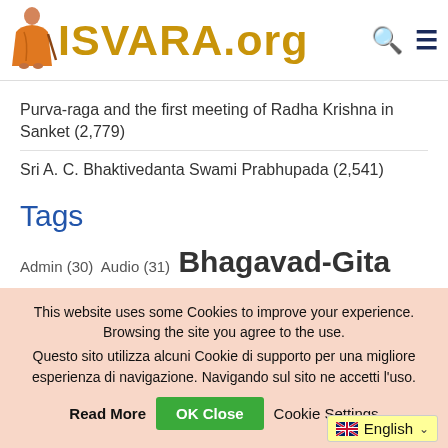ISVARA.org
Purva-raga and the first meeting of Radha Krishna in Sanket (2,779)
Sri A. C. Bhaktivedanta Swami Prabhupada (2,541)
Tags
Admin (30) Audio (31) Bhagavad-Gita (209)
This website uses some Cookies to improve your experience. Browsing the site you agree to the use. Questo sito utilizza alcuni Cookie di supporto per una migliore esperienza di navigazione. Navigando sul sito ne accetti l'uso.
Read More | OK Close | Cookie Settings
English